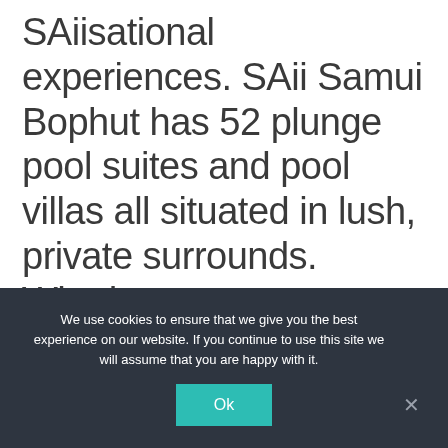SAiisational experiences. SAii Samui Bophut has 52 plunge pool suites and pool villas all situated in lush, private surrounds. Whether you want to relax the day away in the spa or workout in the fitness centre, a variety of activities are on offer.
We use cookies to ensure that we give you the best experience on our website. If you continue to use this site we will assume that you are happy with it.